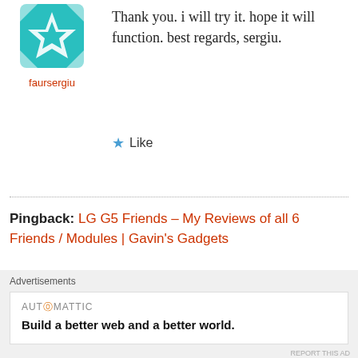[Figure (illustration): Teal geometric snowflake/star avatar image for user faursergiu]
faursergiu
Thank you. i will try it. hope it will function. best regards, sergiu.
★ Like
Pingback: LG G5 Friends – My Reviews of all 6 Friends / Modules | Gavin's Gadgets
Pingback: LG G5 – 26 Part Mammoth Review – The modular phone becomes a reality – With all the LG Friends &
Advertisements
[Figure (logo): Automattic logo and tagline: Build a better web and a better world.]
REPORT THIS AD